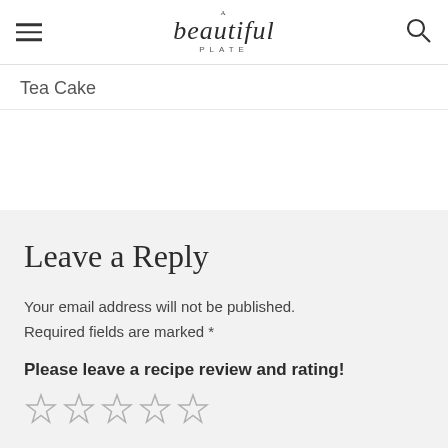A beautiful PLATE
Tea Cake
Leave a Reply
Your email address will not be published.
Required fields are marked *
Please leave a recipe review and rating!
[Figure (other): Five empty star rating icons]